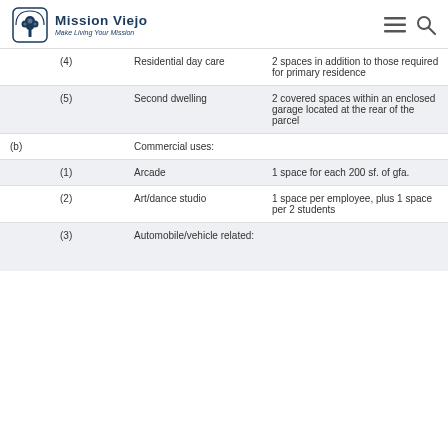Mission Viejo — Make Living Your Mission
|  | Item | Use | Parking Requirement |
| --- | --- | --- | --- |
|  | (4) | Residential day care | 2 spaces in addition to those required for primary residence |
|  | (5) | Second dwelling | 2 covered spaces within an enclosed garage located at the rear of the parcel |
| (b) | Commercial uses: |  |  |
|  | (1) | Arcade | 1 space for each 200 sf. of gfa. |
|  | (2) | Art/dance studio | 1 space per employee, plus 1 space per 2 students |
|  | (3) | Automobile/vehicle related: |  |  |